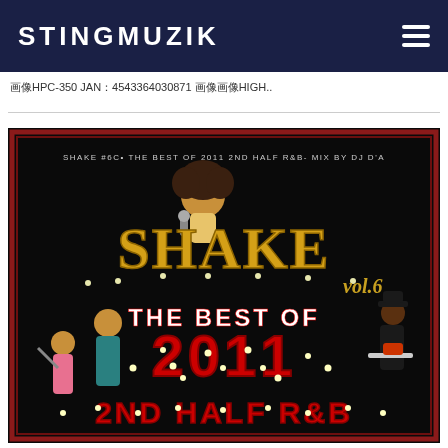STINGMUZIK
画像HPC-350 JAN：4543364030871 画像画像HIGH..
[Figure (illustration): Album cover art for SHAKE vol.6 - THE BEST OF 2011 2ND HALF R&B, showing colorful illustrated characters with marquee-style lettering on a dark background]